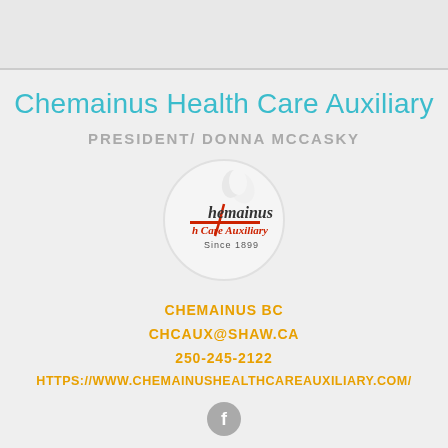Chemainus Health Care Auxiliary
PRESIDENT/ DONNA MCCASKY
[Figure (logo): Chemainus Health Care Auxiliary circular logo with floral design and text 'Chemainus Health Care Auxiliary Since 1899']
CHEMAINUS BC
CHCAUX@SHAW.CA
250-245-2122
HTTPS://WWW.CHEMAINUSHEALTHCAREAUXILIARY.COM/